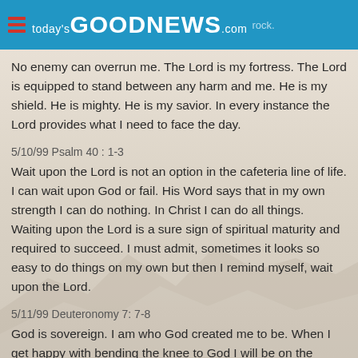today's GOODNEWS.com
No enemy can overrun me. The Lord is my fortress. The Lord is equipped to stand between any harm and me. He is my shield. He is mighty. He is my savior. In every instance the Lord provides what I need to face the day.
5/10/99 Psalm 40 : 1-3
Wait upon the Lord is not an option in the cafeteria line of life. I can wait upon God or fail. His Word says that in my own strength I can do nothing. In Christ I can do all things. Waiting upon the Lord is a sure sign of spiritual maturity and required to succeed. I must admit, sometimes it looks so easy to do things on my own but then I remind myself, wait upon the Lord.
5/11/99 Deuteronomy 7: 7-8
God is sovereign. I am who God created me to be. When I get happy with bending the knee to God I will be on the